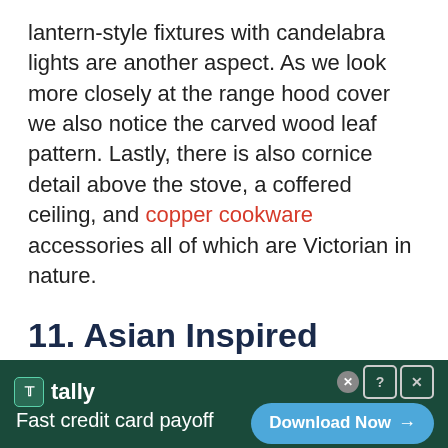lantern-style fixtures with candelabra lights are another aspect.  As we look more closely at the range hood cover we also notice the carved wood leaf pattern.  Lastly, there is also cornice detail above the stove, a coffered ceiling, and copper cookware accessories all of which are Victorian in nature.
11. Asian Inspired Influences
[Figure (other): Advertisement banner for Tally app: 'Fast credit card payoff' with a Download Now button]